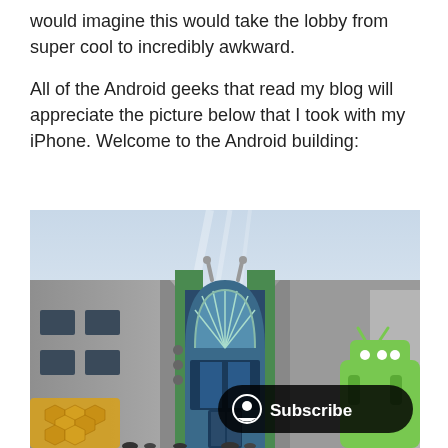would imagine this would take the lobby from super cool to incredibly awkward.

All of the Android geeks that read my blog will appreciate the picture below that I took with my iPhone. Welcome to the Android building:
[Figure (photo): Exterior photograph of the Android building at Google's campus. A large modern office building with a prominent arched green-trimmed entrance featuring a fan window, flanked by curved grey wings. The top of the arch has two small antenna-like protrusions resembling the Android robot head. In the bottom-left corner is a honeycomb/bee decoration, and in the bottom-right corner is a large green Android robot statue. A black rounded 'Subscribe' button with a user icon overlays the bottom-right of the image.]